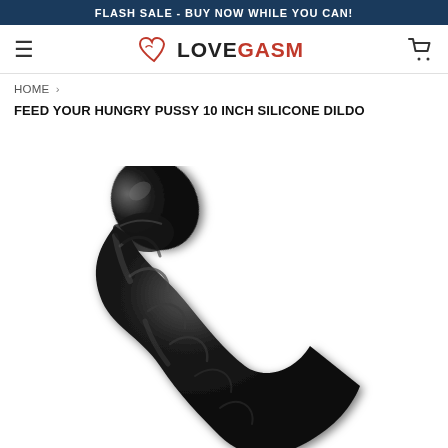FLASH SALE - BUY NOW WHILE YOU CAN!
[Figure (logo): Lovegasm logo with heart icon, hamburger menu icon on left, shopping cart icon on right]
HOME ›
FEED YOUR HUNGRY PUSSY 10 INCH SILICONE DILDO
[Figure (photo): Photo of a black 10 inch silicone dildo with textured shaft, shown diagonally on white background]